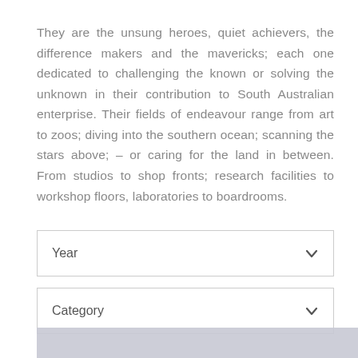They are the unsung heroes, quiet achievers, the difference makers and the mavericks; each one dedicated to challenging the known or solving the unknown in their contribution to South Australian enterprise. Their fields of endeavour range from art to zoos; diving into the southern ocean; scanning the stars above; – or caring for the land in between. From studios to shop fronts; research facilities to workshop floors, laboratories to boardrooms.
Year
Category